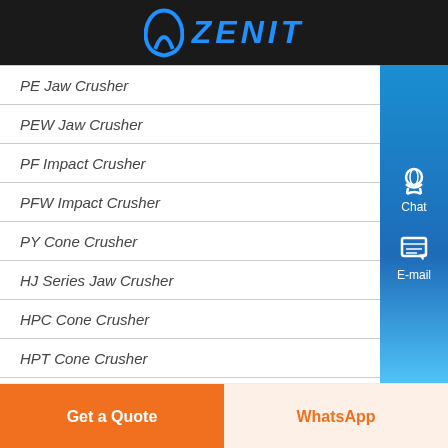[Figure (logo): Zenit company logo with blue arch/arrow icon and blue ZENIT text on black background]
PE Jaw Crusher
PEW Jaw Crusher
PF Impact Crusher
PFW Impact Crusher
PY Cone Crusher
HJ Series Jaw Crusher
HPC Cone Crusher
HPT Cone Crusher
HST Cone Crusher
Get a Quote
WhatsApp